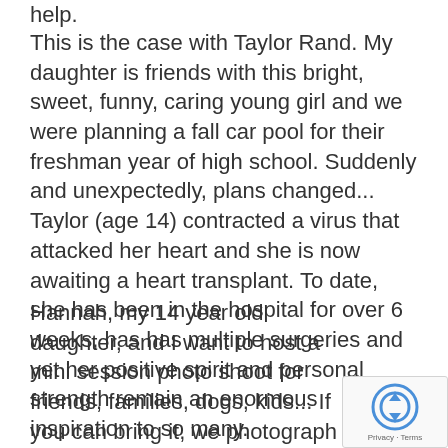help.
This is the case with Taylor Rand.  My daughter is friends with this bright, sweet, funny, caring young girl and we were planning a fall car pool for their freshman year of high school.  Suddenly and unexpectedly, plans changed... Taylor (age 14) contracted a virus that attacked her heart and she is now awaiting a heart transplant.  To date, she has been in the hospital for over 6 weeks, has has multiple surgeries and yet her positive spirit and personal strength remain an enormous inspiration to so many.
Hannah, my 14 year old daughter, and I want to host a mini session photo shoot for friends, families, dogs, kids...  If you can bring it, we photograph it!   We are asking for a $125 suggested donation and you will receive ALL the